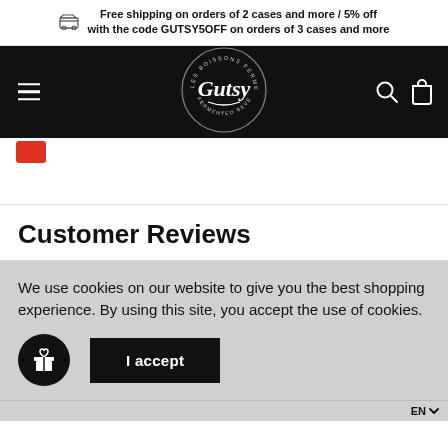Free shipping on orders of 2 cases and more / 5% off with the code GUTSY5OFF on orders of 3 cases and more
[Figure (logo): Gutsy fermented beverages logo — circular badge with script lettering on black navbar]
Customer Reviews
We use cookies on our website to give you the best shopping experience. By using this site, you accept the use of cookies.
I accept